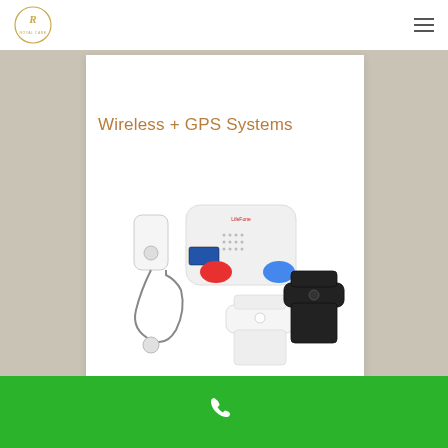Royal Care logo and navigation menu
Wireless + GPS Systems
[Figure (photo): Product photo showing a wireless medical alert system base unit with red and blue buttons and small screen, a pendant emergency button on a lanyard, a white wristband device, and a black wristband device]
Phone contact footer with green background and phone icon